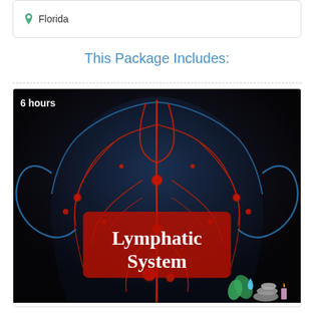Florida
This Package Includes:
[Figure (illustration): Medical illustration of the human lymphatic system showing a torso with blue anatomical outline and red lymphatic network vessels against a dark background. White text overlay reads 'Lymphatic System'. A logo with spa/wellness icons (leaves, stacked stones, candle) is visible in the bottom right. A badge in the top left reads '6 hours'.]
Lymphatic System LCEU2700